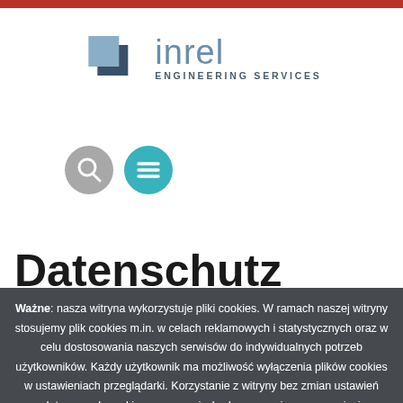inrel ENGINEERING SERVICES
[Figure (logo): Inrel Engineering Services logo with two overlapping square shapes in steel blue/dark blue and the text 'inrel ENGINEERING SERVICES']
[Figure (infographic): Two circular icon buttons: a grey search icon and a teal hamburger menu icon]
Datenschutz
Ważne: nasza witryna wykorzystuje pliki cookies. W ramach naszej witryny stosujemy pliki cookies m.in. w celach reklamowych i statystycznych oraz w celu dostosowania naszych serwisów do indywidualnych potrzeb użytkowników. Każdy użytkownik ma możliwość wyłączenia plików cookies w ustawieniach przeglądarki. Korzystanie z witryny bez zmiany ustawień dotyczących cookies oznacza, że będą one zapisane w pamięci urządzenia. Więcej informacji można znaleźć w naszej Polityce prywatności
Zamknij